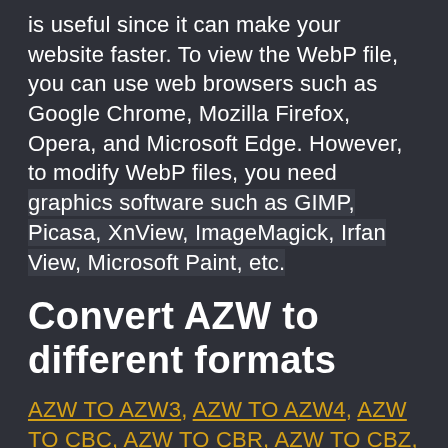is useful since it can make your website faster. To view the WebP file, you can use web browsers such as Google Chrome, Mozilla Firefox, Opera, and Microsoft Edge. However, to modify WebP files, you need graphics software such as GIMP, Picasa, XnView, ImageMagick, Irfan View, Microsoft Paint, etc.
Convert AZW to different formats
AZW TO AZW3, AZW TO AZW4, AZW TO CBC, AZW TO CBR, AZW TO CBZ, AZW TO CHM, AZW TO EPUB, AZW TO FB2, AZW TO HTM, AZW TO HTMLZ, AZW TO LIT, AZW TO LRF, AZW TO MOBI, AZW TO PDB, AZW TO PML, AZW TO PRC, AZW TO RB, AZW TO SNB, AZW TO TCR, AZW TO TXTZ and AZW TO AZW